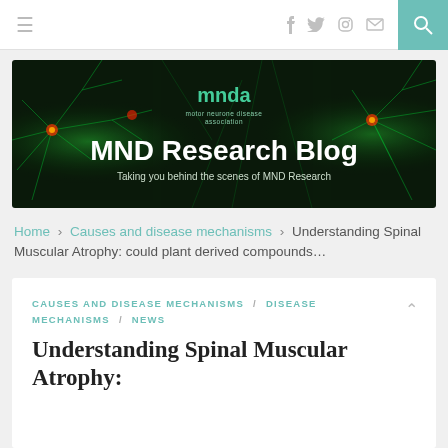≡   f  🐦  📷  ✉   🔍
[Figure (illustration): MND Research Blog banner image: dark background with fluorescent green nerve/neuron cells, mnda logo and text 'MND Research Blog – Taking you behind the scenes of MND Research']
Home > Causes and disease mechanisms > Understanding Spinal Muscular Atrophy: could plant derived compounds…
CAUSES AND DISEASE MECHANISMS / DISEASE MECHANISMS / NEWS
Understanding Spinal Muscular Atrophy: